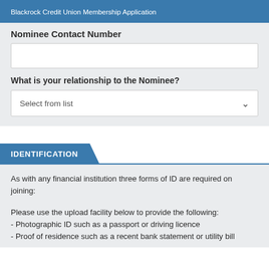Blackrock Credit Union Membership Application
Nominee Contact Number
What is your relationship to the Nominee?
Select from list
IDENTIFICATION
As with any financial institution three forms of ID are required on joining:
Please use the upload facility below to provide the following:
- Photographic ID such as a passport or driving licence
- Proof of residence such as a recent bank statement or utility bill